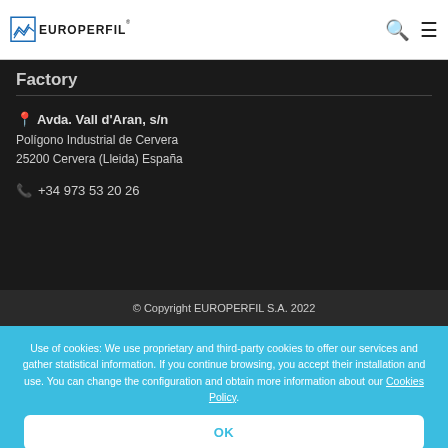EUROPERFIL
Factory
Avda. Vall d'Aran, s/n
Polígono Industrial de Cervera
25200 Cervera (Lleida) España
+34 973 53 20 26
© Copyright EUROPERFIL S.A. 2022
Use of cookies: We use proprietary and third-party cookies to offer our services and gather statistical information. If you continue browsing, you accept their installation and use. You can change the configuration and obtain more information about our Cookies Policy
OK